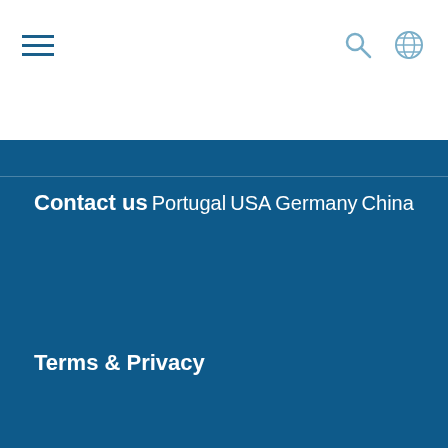Navigation header with hamburger menu, search icon, and globe icon
Contact us
Portugal
USA
Germany
China
Terms & Privacy